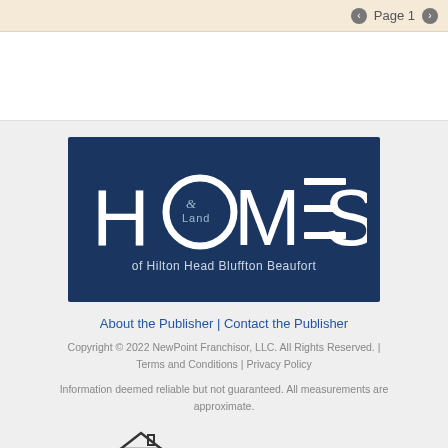Page 1
[Figure (logo): Homes & Land of Hilton Head Bluffton Beaufort logo on dark navy background]
About the Publisher | Contact the Publisher
Copyright © 2022 NewPoint Franchisor, LLC. All Rights Reserved. | Terms and Conditions | Privacy Policy
Information deemed reliable but not guaranteed. All measurements are approximate.
[Figure (logo): Equal Housing Opportunity logo with house icon]
Equal Housing Opportunity